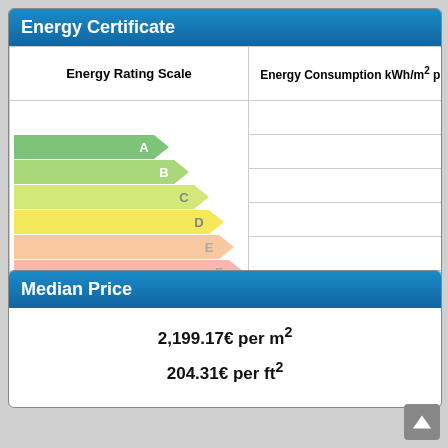Energy Certificate
[Figure (infographic): Energy Rating Scale showing bands A through G as a stepped arrow chart. A is green at top, progressing through yellow-green, yellow, orange to red at G. The current rating is G, highlighted in red.]
| Energy Rating Scale | Energy Consumption kWh/m² per year | Emissions CO²/m² per year |
| --- | --- | --- |
| A |  |  |
| B |  |  |
| C |  |  |
| D |  |  |
| E |  |  |
| F |  |  |
| G | - | 35 |
Median Price
2,199.17€ per m²
204.31€ per ft²